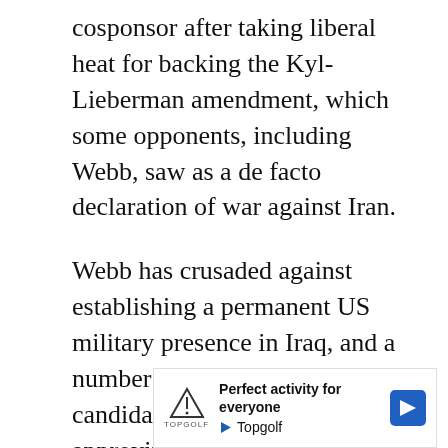cosponsor after taking liberal heat for backing the Kyl-Lieberman amendment, which some opponents, including Webb, saw as a de facto declaration of war against Iran.
Webb has crusaded against establishing a permanent US military presence in Iraq, and a number of his party's presidential candidates have spoken approvingly of his ideas. His ties to the armed services are among the deepest of any member of Congress; he had breakfasted at the Pentagon with the head of the Marine Corps on the morning the building was struck by the 9/11 attackers. But he's consistently
[Figure (other): Advertisement banner for Topgolf with text 'Perfect activity for everyone' and Topgolf logo with navigation arrow icon]